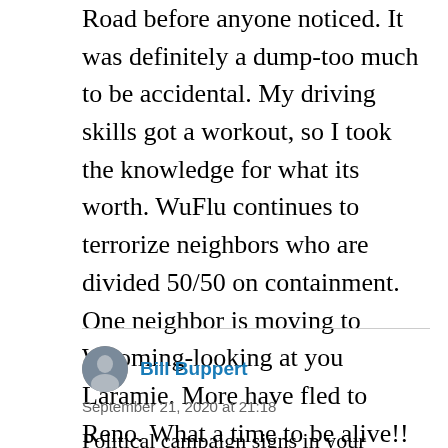Road before anyone noticed. It was definitely a dump-too much to be accidental. My driving skills got a workout, so I took the knowledge for what its worth. WuFlu continues to terrorize neighbors who are divided 50/50 on containment. One neighbor is moving to Wyoming-looking at you Laramie. More have fled to Reno. What a time to be alive!!
Bill Buppert
September 21, 2020 at 21:18
Political campaign signs in your neighborhood are an important administrative reminder for the list of folks for future education campaigns. The University is a place to get...